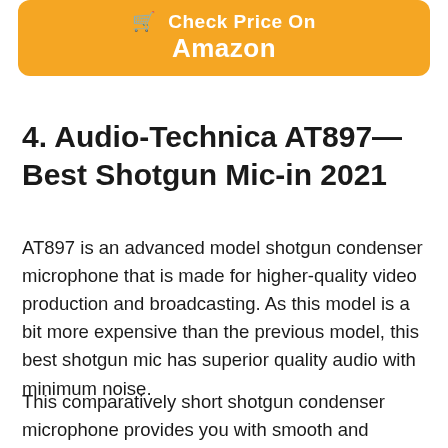[Figure (other): Orange rounded button with shopping cart icon and text 'Check Price On Amazon']
4. Audio-Technica AT897—Best Shotgun Mic-in 2021
AT897 is an advanced model shotgun condenser microphone that is made for higher-quality video production and broadcasting. As this model is a bit more expensive than the previous model, this best shotgun mic has superior quality audio with minimum noise.
This comparatively short shotgun condenser microphone provides you with smooth and natural audio quality. This model besides its